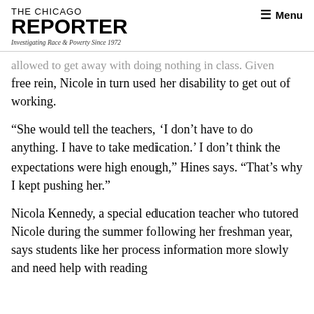THE CHICAGO REPORTER | Investigating Race & Poverty Since 1972 | Menu
allowed to get away with doing nothing in class. Given free rein, Nicole in turn used her disability to get out of working.
“She would tell the teachers, ‘I don’t have to do anything. I have to take medication.’ I don’t think the expectations were high enough,” Hines says. “That’s why I kept pushing her.”
Nicola Kennedy, a special education teacher who tutored Nicole during the summer following her freshman year, says students like her process information more slowly and need help with reading